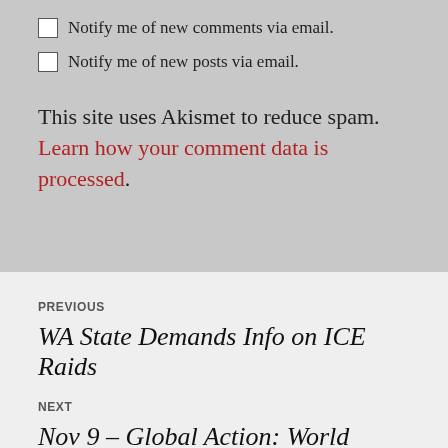Notify me of new comments via email.
Notify me of new posts via email.
This site uses Akismet to reduce spam. Learn how your comment data is processed.
PREVIOUS
WA State Demands Info on ICE Raids
NEXT
Nov 9 – Global Action: World without Walls –